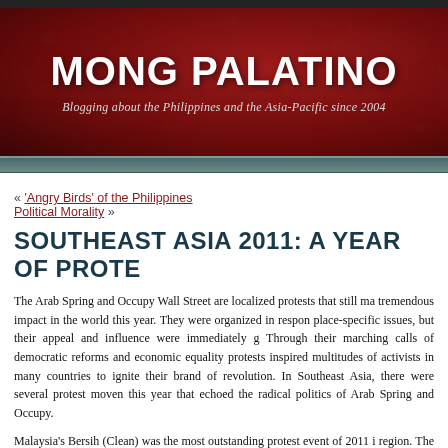[Figure (other): Dark top bar of website]
[Figure (other): Red banner with blog name MONG PALATINO and tagline: Blogging about the Philippines and the Asia-Pacific since 2004]
MONG PALATINO
Blogging about the Philippines and the Asia-Pacific since 2004
« 'Angry Birds' of the Philippines
Political Morality »
SOUTHEAST ASIA 2011: A YEAR OF PROTE...
The Arab Spring and Occupy Wall Street are localized protests that still ma... tremendous impact in the world this year. They were organized in respon... place-specific issues, but their appeal and influence were immediately g... Through their marching calls of democratic reforms and economic equality... protests inspired multitudes of activists in many countries to ignite their... brand of revolution. In Southeast Asia, there were several protest moven... this year that echoed the radical politics of Arab Spring and Occupy.
Malaysia's Bersih (Clean) was the most outstanding protest event of 2011 i... region. The event, which was initially organized to ask for very sensible... doable electoral reforms (e.g. cleaning up of the electoral roll and the u... indelible ink), in the end became a pro-democracy action because o...